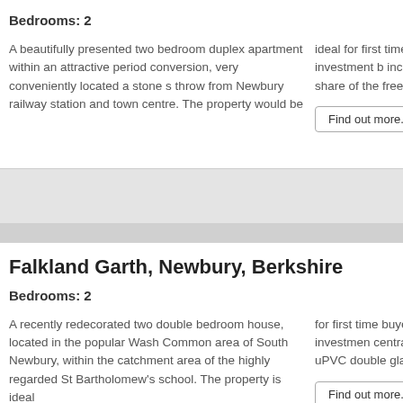Bedrooms: 2
A beautifully presented two bedroom duplex apartment within an attractive period conversion, very conveniently located a stone s throw from Newbury railway station and town centre. The property would be
ideal for first time or investment b including a share of the freehold,
Find out more...
Clic
Falkland Garth, Newbury, Berkshire
Bedrooms: 2
A recently redecorated two double bedroom house, located in the popular Wash Common area of South Newbury, within the catchment area of the highly regarded St Bartholomew's school. The property is ideal
for first time buyers or investmen central heating, uPVC double gla
Find out more...
Clic